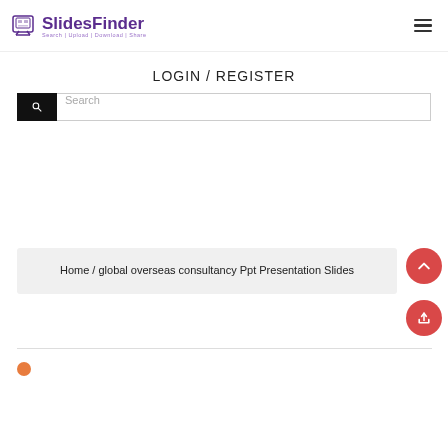[Figure (logo): SlidesFinder logo with icon and tagline 'Search | Upload | Download | Share']
LOGIN / REGISTER
Search (search bar UI element)
Home / global overseas consultancy Ppt Presentation Slides